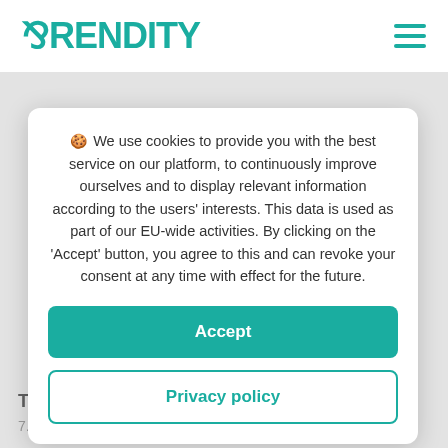RENDITY
During the term, the lender will receive an annual
🍪 We use cookies to provide you with the best service on our platform, to continuously improve ourselves and to display relevant information according to the users' interests. This data is used as part of our EU-wide activities. By clicking on the 'Accept' button, you agree to this and can revoke your consent at any time with effect for the future.
Accept
Privacy policy
Ti
7.25% p.a. / 24 months